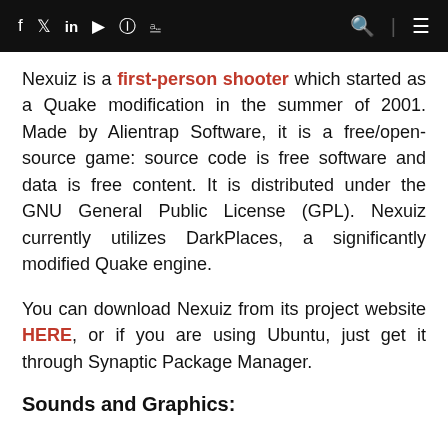f  twitter  in  youtube  instagram  rss   [search] [menu]
Nexuiz is a first-person shooter which started as a Quake modification in the summer of 2001. Made by Alientrap Software, it is a free/open-source game: source code is free software and data is free content. It is distributed under the GNU General Public License (GPL). Nexuiz currently utilizes DarkPlaces, a significantly modified Quake engine.
You can download Nexuiz from its project website HERE, or if you are using Ubuntu, just get it through Synaptic Package Manager.
Sounds and Graphics: